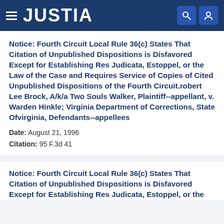JUSTIA
Notice: Fourth Circuit Local Rule 36(c) States That Citation of Unpublished Dispositions is Disfavored Except for Establishing Res Judicata, Estoppel, or the Law of the Case and Requires Service of Copies of Cited Unpublished Dispositions of the Fourth Circuit.robert Lee Brock, A/k/a Two Souls Walker, Plaintiff--appellant, v. Warden Hinkle; Virginia Department of Corrections, State Ofvirginia, Defendants--appellees
Date: August 21, 1996
Citation: 95 F.3d 41
Notice: Fourth Circuit Local Rule 36(c) States That Citation of Unpublished Dispositions is Disfavored Except for Establishing Res Judicata, Estoppel, or the